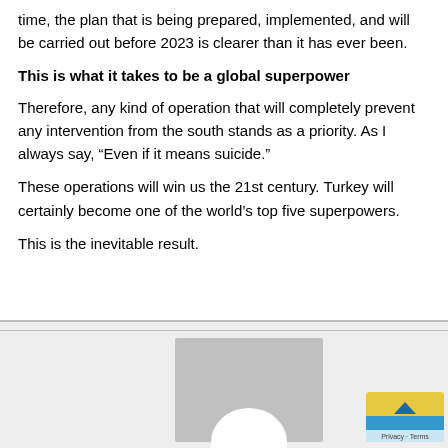time, the plan that is being prepared, implemented, and will be carried out before 2023 is clearer than it has ever been.
This is what it takes to be a global superpower
Therefore, any kind of operation that will completely prevent any intervention from the south stands as a priority. As I always say, “Even if it means suicide.”
These operations will win us the 21st century. Turkey will certainly become one of the world’s top five superpowers.
This is the inevitable result.
[Figure (photo): A webpage screenshot showing a grey box with an avatar/profile image placeholder (grey rectangle with white circular cutout at bottom). A Privacy & Terms badge is partially visible in the bottom-right corner.]